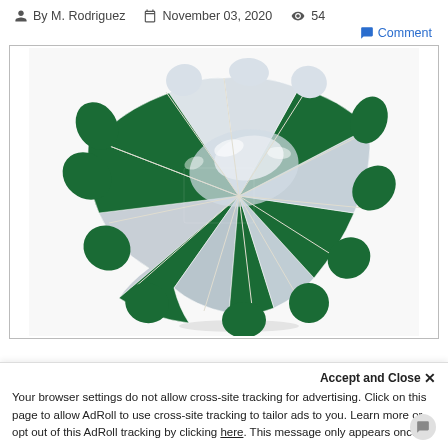By M. Rodriguez   November 03, 2020   54   Comment
[Figure (photo): A green and silver beach/patio umbrella with a tilting pole, photographed against a white background. The umbrella has alternating green and silver/white panels and a metal pole.]
Accept and Close ×
Your browser settings do not allow cross-site tracking for advertising. Click on this page to allow AdRoll to use cross-site tracking to tailor ads to you. Learn more or opt out of this AdRoll tracking by clicking here. This message only appears once.